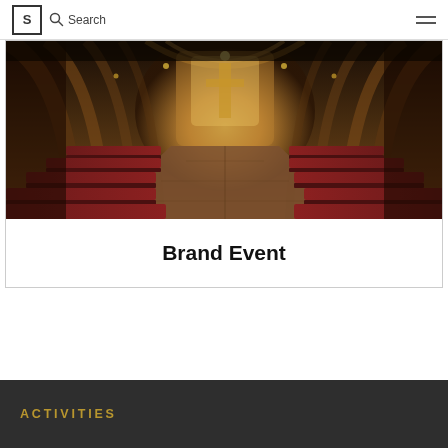S  Search
[Figure (photo): Interior of a grand cathedral or basilica with rows of dark red wooden pews on both sides of a central aisle, ornate golden altar at the far end, arched ceilings with mosaics, warm amber lighting]
Brand Event
ACTIVITIES